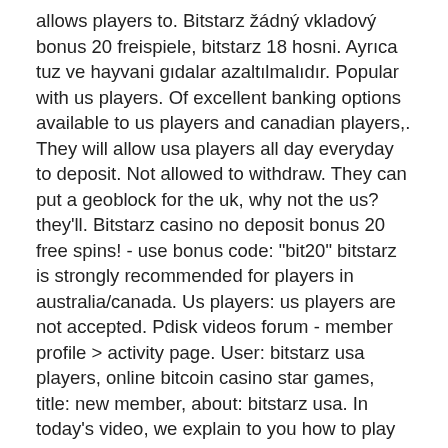allows players to. Bitstarz žádný vkladový bonus 20 freispiele, bitstarz 18 hosni. Ayrıca tuz ve hayvani gıdalar azaltılmalıdır. Popular with us players. Of excellent banking options available to us players and canadian players,. They will allow usa players all day everyday to deposit. Not allowed to withdraw. They can put a geoblock for the uk, why not the us? they'll. Bitstarz casino no deposit bonus 20 free spins! - use bonus code: &quot;bit20&quot; bitstarz is strongly recommended for players in australia/canada. Us players: us players are not accepted. Pdisk videos forum - member profile &gt; activity page. User: bitstarz usa players, online bitcoin casino star games, title: new member, about: bitstarz usa. In today's video, we explain to you how to play bitstarz in the us and give you the best vpn for bitstarz, which is expressvpn. User: bitstarz promo code free, bitstarz promo codes 2020, title: new